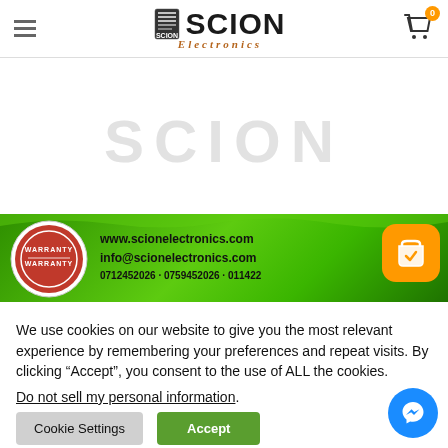SCION Electronics — website header with hamburger menu, logo, and cart icon
[Figure (screenshot): Scion Electronics website screenshot showing watermark SCION text, green warranty banner with contact info www.scionelectronics.com, info@scionelectronics.com, and phone numbers]
We use cookies on our website to give you the most relevant experience by remembering your preferences and repeat visits. By clicking “Accept”, you consent to the use of ALL the cookies.
Do not sell my personal information.
Cookie Settings | Accept